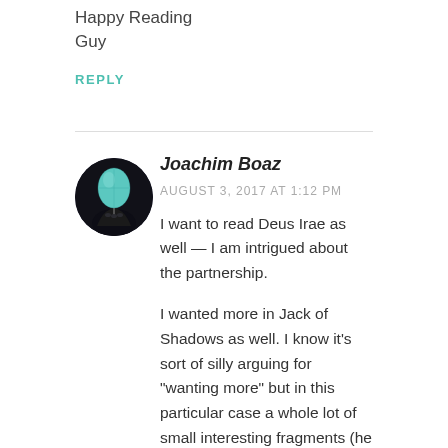Happy Reading
Guy
REPLY
Joachim Boaz
AUGUST 3, 2017 AT 1:12 PM
I want to read Deus Irae as well — I am intrigued about the partnership.
I wanted more in Jack of Shadows as well. I know it’s sort of silly arguing for “wanting more” but in this particular case a whole lot of small interesting fragments (he was